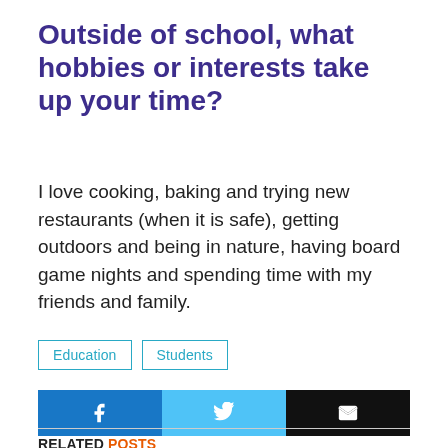Outside of school, what hobbies or interests take up your time?
I love cooking, baking and trying new restaurants (when it is safe), getting outdoors and being in nature, having board game nights and spending time with my friends and family.
Education | Students
[Figure (other): Social share buttons: Facebook (blue), Twitter (light blue), Email (black)]
RELATED POSTS